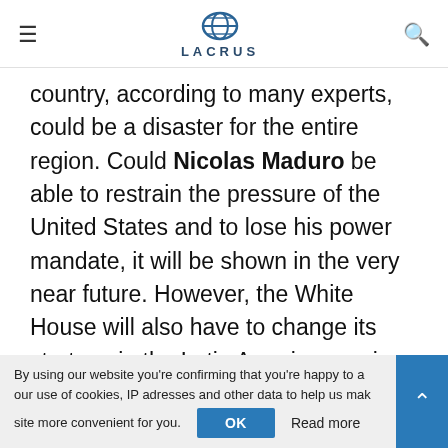LACRUS
country, according to many experts, could be a disaster for the entire region. Could Nicolas Maduro be able to restrain the pressure of the United States and to lose his power mandate, it will be shown in the very near future. However, the White House will also have to change its strategy in the Latin American region, at least during the fight against a dangerous pandemic.
CORONAVIRUS
NICOLAS MADURO
RUSSIA
By using our website you're confirming that you're happy to accept our use of cookies, IP adresses and other data to help us make the site more convenient for you.
OK
Read more